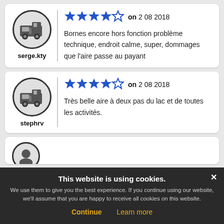[Figure (illustration): Motorhome/camper van icon in a circle, user avatar for serge.kty]
serge.kty
[Figure (other): 4 out of 5 blue stars rating on 2 08 2018]
Bornes encore hors fonction problème technique, endroit calme, super, dommages que l'aire passe au payant
[Figure (illustration): Motorhome/camper van icon in a circle, user avatar for stephrv]
stephrv
[Figure (other): 4 out of 5 blue stars rating on 2 08 2018]
Très belle aire à deux pas du lac et de toutes les activités.
This website is using cookies. We use them to give you the best experience. If you continue using our website, we'll assume that you are happy to receive all cookies on this website.
Continue    Learn more